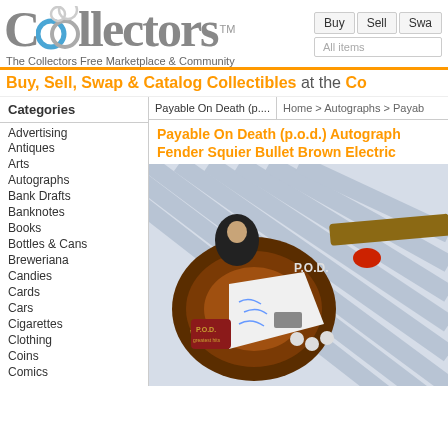[Figure (logo): Collectors website logo with two interlocking circles in blue/gray forming the double-o in Collectors, with TM mark]
The Collectors Free Marketplace & Community
Buy   Sell   Swa...
All items
Buy, Sell, Swap & Catalog Collectibles at the Co...
Categories
Payable On Death (p....
Home > Autographs > Payab...
Payable On Death (p.o.d.) Autograph... Fender Squier Bullet Brown Electric...
Advertising
Antiques
Arts
Autographs
Bank Drafts
Banknotes
Books
Bottles & Cans
Breweriana
Candies
Cards
Cars
Cigarettes
Clothing
Coins
Comics
[Figure (photo): Autographed Fender Squier Bullet Brown Electric Guitar with P.O.D. band signatures and imagery on the body]